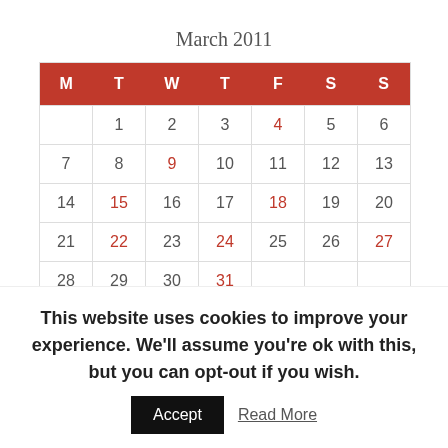March 2011
| M | T | W | T | F | S | S |
| --- | --- | --- | --- | --- | --- | --- |
|  | 1 | 2 | 3 | 4 | 5 | 6 |
| 7 | 8 | 9 | 10 | 11 | 12 | 13 |
| 14 | 15 | 16 | 17 | 18 | 19 | 20 |
| 21 | 22 | 23 | 24 | 25 | 26 | 27 |
| 28 | 29 | 30 | 31 |  |  |  |
« Feb   Apr »
This website uses cookies to improve your experience. We'll assume you're ok with this, but you can opt-out if you wish. Accept  Read More